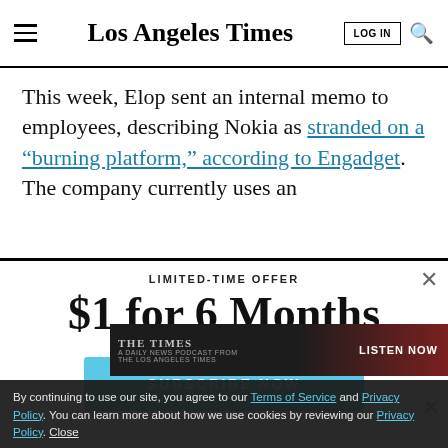Los Angeles Times
This week, Elop sent an internal memo to employees, describing Nokia as stranded on a “burning platform,” according to Engadget. The company currently uses an
LIMITED-TIME OFFER
$1 for 6 Months
SUBSCRIBE NOW
By continuing to use our site, you agree to our Terms of Service and Privacy Policy. You can learn more about how we use cookies by reviewing our Privacy Policy. Close